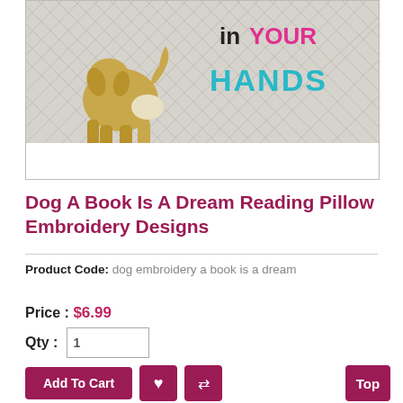[Figure (photo): Photo of an embroidered reading pillow showing a golden retriever dog and text 'HOLD in YOUR HANDS' in colorful embroidery on a white quilted fabric. Bottom portion is white.]
Dog A Book Is A Dream Reading Pillow Embroidery Designs
Product Code:  dog embroidery a book is a dream
Price :  $6.99
Qty :  1
Add To Cart